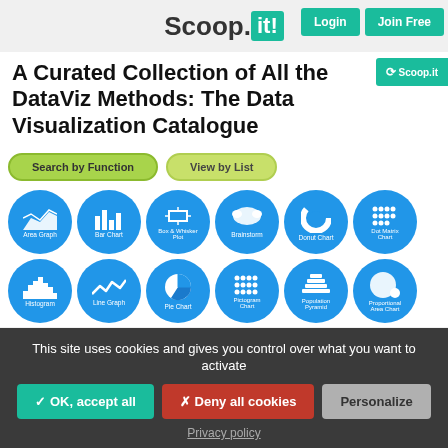Scoop.it! | Login | Join Free
A Curated Collection of All the DataViz Methods: The Data Visualization Catalogue
[Figure (screenshot): Data Visualization Catalogue website screenshot showing search buttons 'Search by Function' and 'View by List', and a grid of 12 blue circular icons representing chart types: Area Graph, Bar Chart, Box & Whisker Plot, Brainstorm, Donut Chart, Dot Matrix Chart, Histogram, Line Graph, Pie Chart, Pictogram Chart, Population Pyramid, Proportional Area Chart]
This site uses cookies and gives you control over what you want to activate
✓ OK, accept all | ✗ Deny all cookies | Personalize
Privacy policy